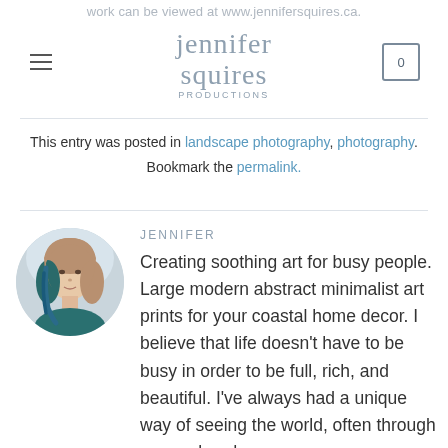work can be viewed at www.jennifersquires.ca. jennifer squires productions
This entry was posted in landscape photography, photography. Bookmark the permalink.
[Figure (photo): Circular portrait photo of Jennifer, a woman with light skin and long hair with blue highlights, wearing a teal top.]
JENNIFER
Creating soothing art for busy people. Large modern abstract minimalist art prints for your coastal home decor. I believe that life doesn't have to be busy in order to be full, rich, and beautiful. I've always had a unique way of seeing the world, often through rose-colored